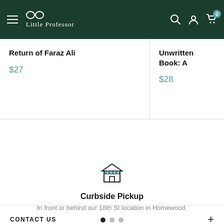Little Professor
Return of Faraz Ali
$27
Unwritten Book: A
$28
[Figure (illustration): Store/shop icon with roof and door]
Curbside Pickup
In front or behind our 18th St location in Homewood.
CONTACT US